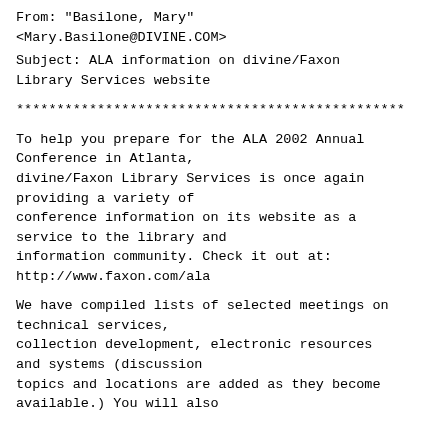From:         "Basilone, Mary" <Mary.Basilone@DIVINE.COM>
Subject:      ALA information on divine/Faxon Library Services website
************************************************
To help you prepare for the ALA 2002 Annual Conference in Atlanta, divine/Faxon Library Services is once again providing a variety of conference information on its website as a service to the library and information community. Check it out at: http://www.faxon.com/ala
We have compiled lists of selected meetings on technical services, collection development, electronic resources and systems (discussion topics and locations are added as they become available.) You will also